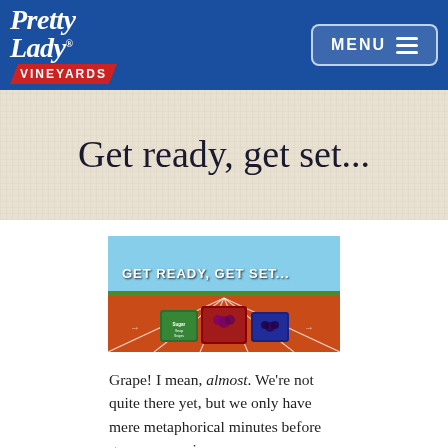Pretty Lady Vineyards — MENU
Get ready, get set...
[Figure (photo): Marketing image showing packages of Pretty Lady Vineyards grapes on a running track with text 'GET READY, GET SET...' overlaid]
Grape! I mean, almost. We're not quite there yet, but we only have mere metaphorical minutes before grape season is upon us.